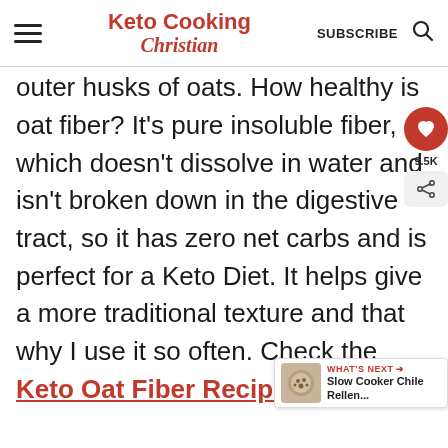Keto Cooking Christian | SUBSCRIBE
outer husks of oats. How healthy is oat fiber? It's pure insoluble fiber, which doesn't dissolve in water and isn't broken down in the digestive tract, so it has zero net carbs and is perfect for a Keto Diet. It helps give a more traditional texture and that why I use it so often. Check the Keto Oat Fiber Recipes you